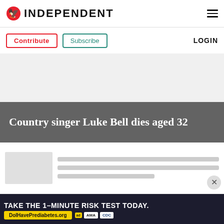INDEPENDENT
Contribute   Subscribe   LOGIN
[Figure (other): Gray advertisement placeholder area]
Country singer Luke Bell dies aged 32
[Figure (other): Article preview with thumbnail image placeholder and text lines, and a close (X) button]
[Figure (other): Advertisement banner: TAKE THE 1-MINUTE RISK TEST TODAY. DoIHavePrediabetes.org with ad, AMA, and CDC logos]